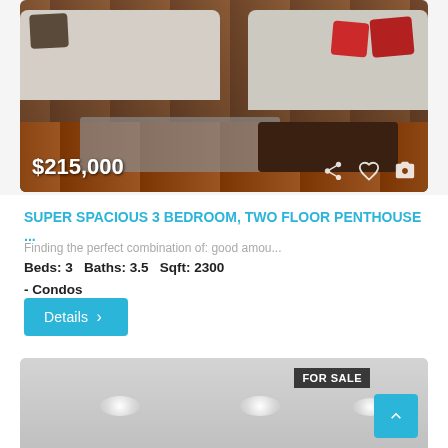[Figure (photo): Interior living room photo showing two cream/white sofas, dark wood floor, grey rug, and dark coffee table. Price overlay $215,000 at bottom left with share, heart, and camera icons at bottom right.]
SUPER SPACIOUS 3 BEDROOM, TWO FLOOR PENTHOUSE ...
Finding the perfect combination of: good amou...
Beds: 3   Baths: 3.5   Sqft: 2300
- Condos
Details >
+593 99 474 8668
[Figure (photo): Interior ceiling photo showing recessed lighting spots on a light grey/white ceiling. FOR SALE badge at top right. Scroll-to-top button (cyan, chevron up) at bottom right.]